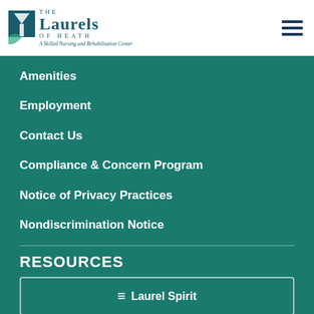[Figure (logo): The Laurels of Heath - A Skilled Nursing and Rehabilitation Center logo with teal leaf icon]
Amenities
Employment
Contact Us
Compliance & Concern Program
Notice of Privacy Practices
Nondiscrimination Notice
RESOURCES
Laurel Spirit
Contact Us